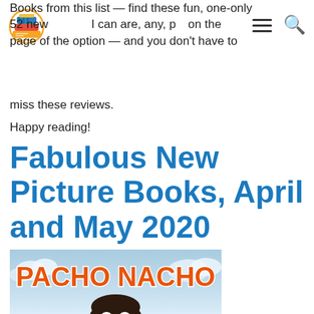[Figure (logo): Imagination Soup logo — colorful stacked books icon]
Books from this list — find these fun, one-only 52 new voices. I can are, any, p... on the page of the option — and you don't have to miss these reviews.
Happy reading!
Fabulous New Picture Books, April and May 2020
[Figure (photo): Book cover of 'Pacho Nacho' — light blue sky background with orange illustrated text saying PACHO NACHO and a cartoon boy with dark hair at the bottom]